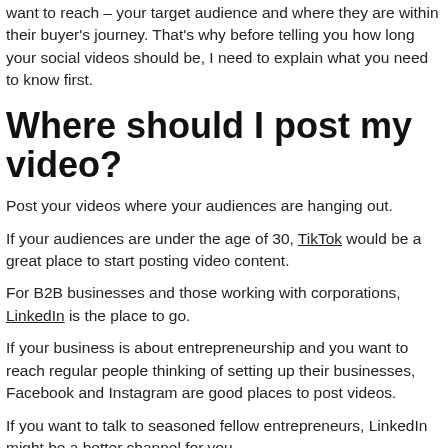want to reach – your target audience and where they are within their buyer's journey. That's why before telling you how long your social videos should be, I need to explain what you need to know first.
Where should I post my video?
Post your videos where your audiences are hanging out.
If your audiences are under the age of 30, TikTok would be a great place to start posting video content.
For B2B businesses and those working with corporations, LinkedIn is the place to go.
If your business is about entrepreneurship and you want to reach regular people thinking of setting up their businesses, Facebook and Instagram are good places to post videos.
If you want to talk to seasoned fellow entrepreneurs, LinkedIn might be a better channel for you.